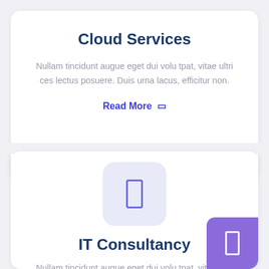Cloud Services
Nullam tincidunt augue eget dui volu tpat, vitae ultri ces lectus posuere. Duis urna lacus, efficitur non.
Read More ▷
[Figure (illustration): Icon box with a rectangle outline icon representing a service]
IT Consultancy
Nullam tincidunt augue eget dui volu tpat, vitae ultri ces lectus posuere. Duis urna lacus, efficitur non.
[Figure (illustration): Purple accent icon box with white rectangle outline icon]